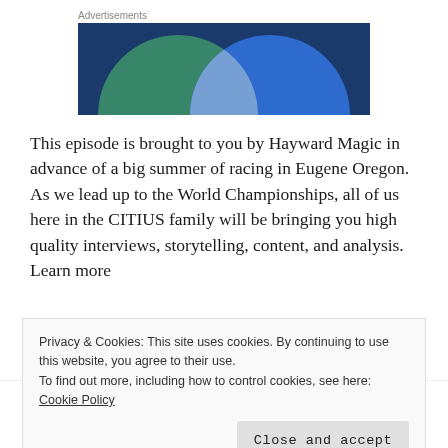Advertisements
[Figure (illustration): Advertisement banner image with overlapping green and blue semi-circles on a dark blue background, creating a Venn diagram-like design with a light grey overlapping center area.]
This episode is brought to you by Hayward Magic in advance of a big summer of racing in Eugene Oregon. As we lead up to the World Championships, all of us here in the CITIUS family will be bringing you high quality interviews, storytelling, content, and analysis. Learn more
Privacy & Cookies: This site uses cookies. By continuing to use this website, you agree to their use.
To find out more, including how to control cookies, see here: Cookie Policy
Close and accept
their bid is fun. The two of us probably know this course